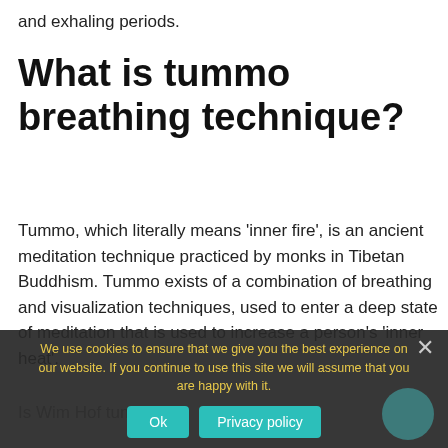and exhaling periods.
What is tummo breathing technique?
Tummo, which literally means 'inner fire', is an ancient meditation technique practiced by monks in Tibetan Buddhism. Tummo exists of a combination of breathing and visualization techniques, used to enter a deep state of meditation that is used to increase a person's 'inner heat'.
Is Wim Hof tummo...
We use cookies to ensure that we give you the best experience on our website. If you continue to use this site we will assume that you are happy with it.